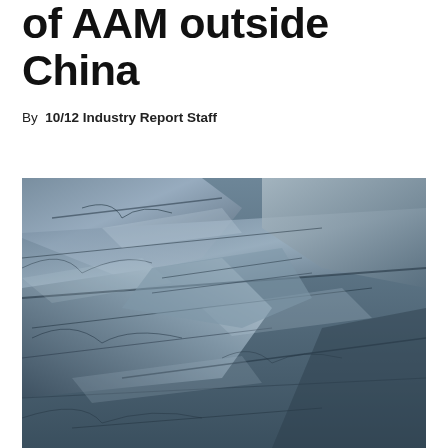of AAM outside China
By 10/12 Industry Report Staff
[Figure (photo): Close-up photograph of grey slate or layered rock surface with textured, striated stone formations in blue-grey tones]